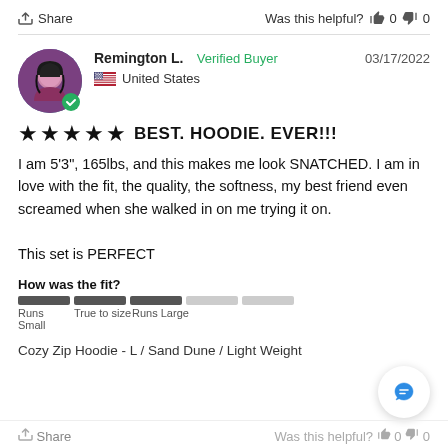Share   Was this helpful?  👍 0  👎 0
Remington L.   Verified Buyer   03/17/2022
🇺🇸 United States
★★★★★  BEST. HOODIE. EVER!!!
I am 5'3", 165lbs, and this makes me look SNATCHED. I am in love with the fit, the quality, the softness, my best friend even screamed when she walked in on me trying it on.

This set is PERFECT
How was the fit?
Runs Small   True to size   Runs Large
Cozy Zip Hoodie - L / Sand Dune / Light Weight
Share   Was this helpful?  👍 0  👎 0